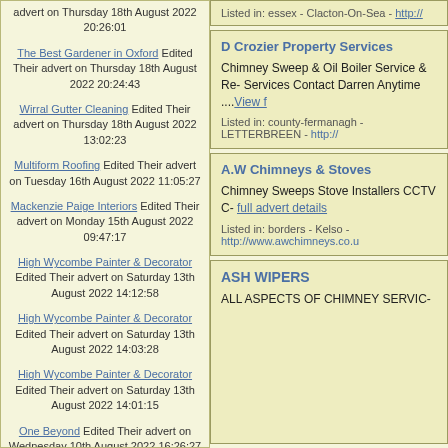advert on Thursday 18th August 2022 20:26:01
The Best Gardener in Oxford Edited Their advert on Thursday 18th August 2022 20:24:43
Wirral Gutter Cleaning Edited Their advert on Thursday 18th August 2022 13:02:23
Multiform Roofing Edited Their advert on Tuesday 16th August 2022 11:05:27
Mackenzie Paige Interiors Edited Their advert on Monday 15th August 2022 09:47:17
High Wycombe Painter & Decorator Edited Their advert on Saturday 13th August 2022 14:12:58
High Wycombe Painter & Decorator Edited Their advert on Saturday 13th August 2022 14:03:28
High Wycombe Painter & Decorator Edited Their advert on Saturday 13th August 2022 14:01:15
One Beyond Edited Their advert on Wednesday 10th August 2022 16:26:27
Bullamoor Hire Edited Their advert on Tuesday 9th August 2022 11:53:39
Listed in: essex - Clacton-On-Sea - http://
D Crozier Property Services
Chimney Sweep & Oil Boiler Service & Re- Services Contact Darren Anytime ....View f
Listed in: county-fermanagh - LETTERBREEN - http://
A.W Chimneys & Stoves
Chimney Sweeps Stove Installers CCTV C- full advert details
Listed in: borders - Kelso - http://www.awchimneys.co.u
ASH WIPERS
ALL ASPECTS OF CHIMNEY SERVIC-